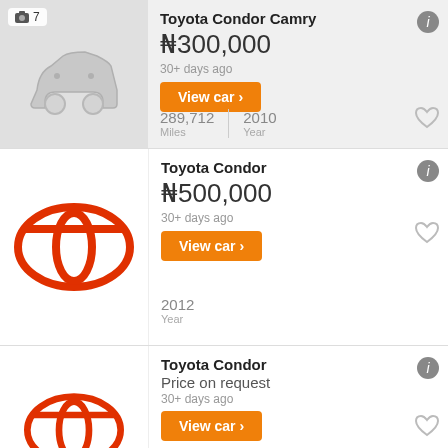[Figure (illustration): Gray placeholder car silhouette with photo count badge showing camera icon and '7']
Toyota Condor Camry
₦300,000
30+ days ago
View car ›
289,712 Miles | 2010 Year
[Figure (logo): Toyota red oval logo on white background]
Toyota Condor
₦500,000
30+ days ago
View car ›
2012 Year
[Figure (logo): Toyota red oval logo partially visible, cropped at bottom]
Toyota Condor
Price on request
30+ days ago
View car ›